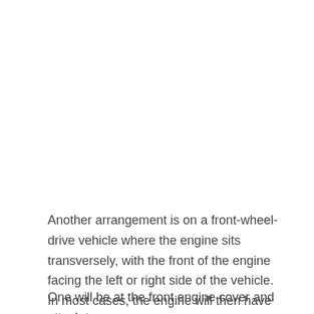Another arrangement is on a front-wheel-drive vehicle where the engine sits transversely, with the front of the engine facing the left or right side of the vehicle. In most cases, the engine will then have two mounts that it hangs on, more or less.
One will be at the front engine cover and attach to